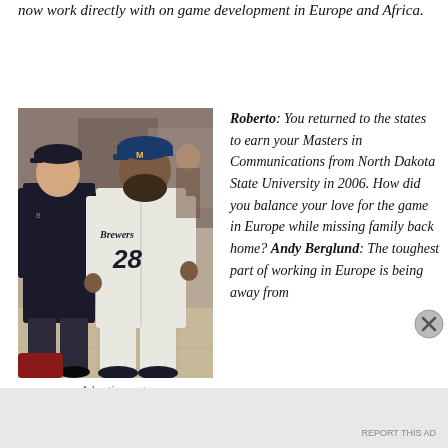now work directly with on game development in Europe and Africa.
[Figure (photo): Two men posing together, one wearing a dark jacket and baseball cap, the other wearing a Milwaukee Brewers jersey number 28 and baseball cap, indoors at what appears to be an event.]
Advertisements
Roberto: You returned to the states to earn your Masters in Communications from North Dakota State University in 2006. How did you balance your love for the game in Europe while missing family back home? Andy Berglund: The toughest part of working in Europe is being away from